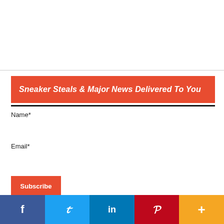Sneaker Steals & Major News Delivered To You
Name*
Email*
Subscribe
June 2022 Release Dates
[Figure (screenshot): June 2022 sneaker release dates thumbnail image with dark background and yellow text]
[Figure (infographic): Social sharing bar with Facebook, Twitter, LinkedIn, Pinterest, and More buttons]